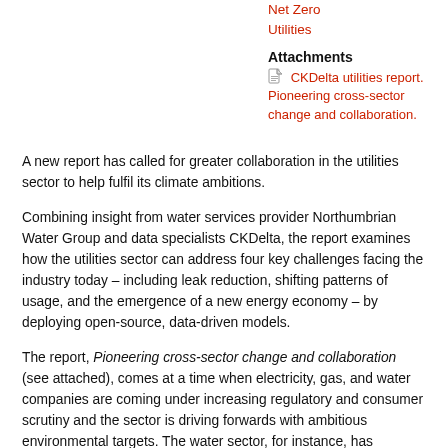Net Zero
Utilities
Attachments
CKDelta utilities report. Pioneering cross-sector change and collaboration.
A new report has called for greater collaboration in the utilities sector to help fulfil its climate ambitions.
Combining insight from water services provider Northumbrian Water Group and data specialists CKDelta, the report examines how the utilities sector can address four key challenges facing the industry today – including leak reduction, shifting patterns of usage, and the emergence of a new energy economy – by deploying open-source, data-driven models.
The report, Pioneering cross-sector change and collaboration (see attached), comes at a time when electricity, gas, and water companies are coming under increasing regulatory and consumer scrutiny and the sector is driving forwards with ambitious environmental targets. The water sector, for instance, has committed to delivering net zero emissions by 2030, while the government has committed to decarbonising the electricity grid